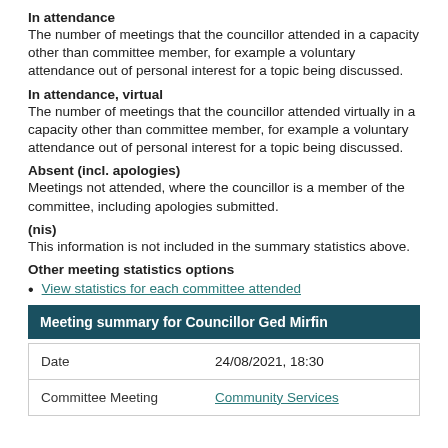In attendance
The number of meetings that the councillor attended in a capacity other than committee member, for example a voluntary attendance out of personal interest for a topic being discussed.
In attendance, virtual
The number of meetings that the councillor attended virtually in a capacity other than committee member, for example a voluntary attendance out of personal interest for a topic being discussed.
Absent (incl. apologies)
Meetings not attended, where the councillor is a member of the committee, including apologies submitted.
(nis)
This information is not included in the summary statistics above.
Other meeting statistics options
View statistics for each committee attended
|  |  |
| --- | --- |
| Date | 24/08/2021, 18:30 |
| Committee Meeting | Community Services |
Meeting summary for Councillor Ged Mirfin